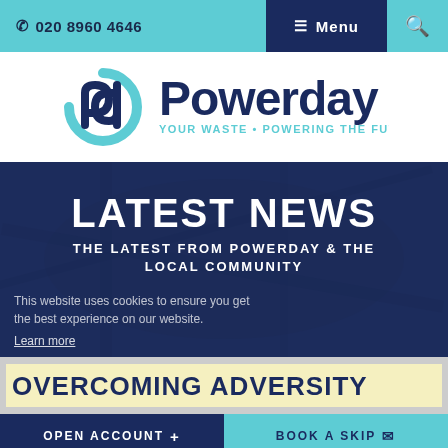☎ 020 8960 4646   ☰ Menu   🔍
[Figure (logo): Powerday logo — circular 'pd' monogram in cyan and navy, with text 'Powerday' in navy and tagline 'YOUR WASTE • POWERING THE FUTURE' in cyan]
LATEST NEWS
THE LATEST FROM POWERDAY & THE LOCAL COMMUNITY
This website uses cookies to ensure you get the best experience on our website.
Learn more
OVERCOMING ADVERSITY
OPEN ACCOUNT +   BOOK A SKIP ✉